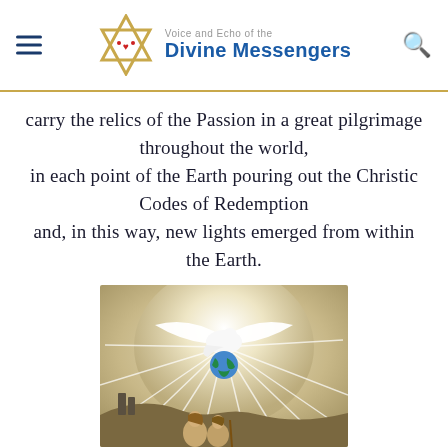Voice and Echo of the Divine Messengers
carry the relics of the Passion in a great pilgrimage throughout the world, in each point of the Earth pouring out the Christic Codes of Redemption and, in this way, new lights emerged from within the Earth.
[Figure (illustration): Religious illustration showing a white dove with spread wings above a globe/Earth, radiating beams of light, with two robed figures standing in the foreground against a landscape background.]